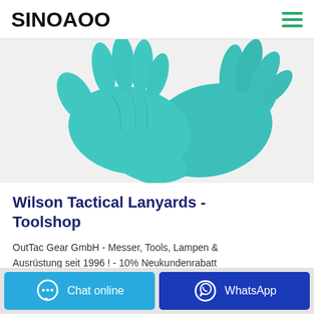SINOAOO
[Figure (photo): Teal/turquoise nitrile gloves overlapping each other on a white background]
Wilson Tactical Lanyards - Toolshop
OutTac Gear GmbH - Messer, Tools, Lampen & Ausrüstung seit 1996 ! - 10% Neukundenrabatt
Chat online
WhatsApp